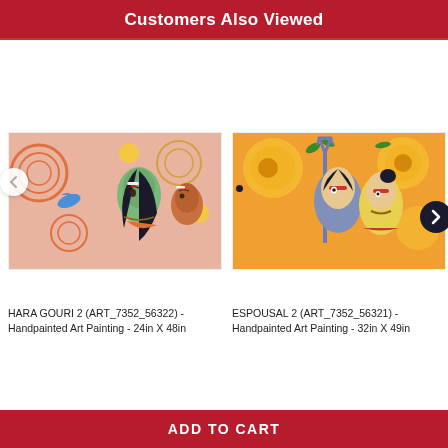Customers Also Viewed
[Figure (photo): Indian devotional painting showing two female figures in profile with colorful floral/circular background motifs — HARA GOURI 2]
[Figure (photo): Indian devotional painting showing two figures with a trident (trishul) against a vibrant orange/yellow floral background with sunflowers — ESPOUSAL 2]
HARA GOURI 2 (ART_7352_56322) - Handpainted Art Painting - 24in X 48in
ESPOUSAL 2 (ART_7352_56321) - Handpainted Art Painting - 32in X 49in
ADD TO CART